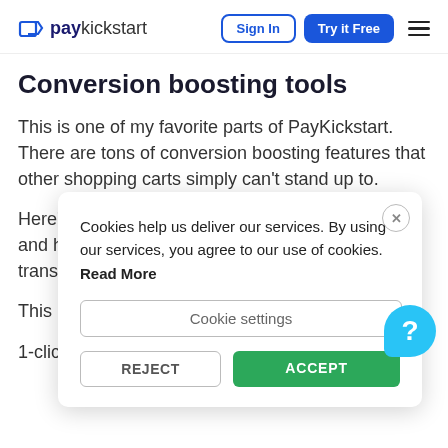paykickstart | Sign In | Try it Free
Conversion boosting tools
This is one of my favorite parts of PayKickstart. There are tons of conversion boosting features that other shopping carts simply can't stand up to.
Here's the list of features for collecting payments and helping you maximize revenue from every transaction PayKickstart is.
This is made possible by features:
1-click upsells
[Figure (screenshot): Cookie consent modal overlay with text 'Cookies help us deliver our services. By using our services, you agree to our use of cookies. Read More', with buttons: Cookie settings, REJECT, ACCEPT]